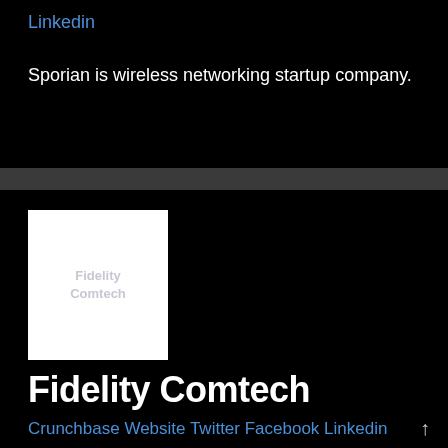Linkedin
Sporian is wireless networking startup company.
[Figure (logo): Fidelity Comtech logo placeholder — white rectangle with faint grey text 'Fidelity Comtech']
Fidelity Comtech
Crunchbase Website Twitter Facebook Linkedin